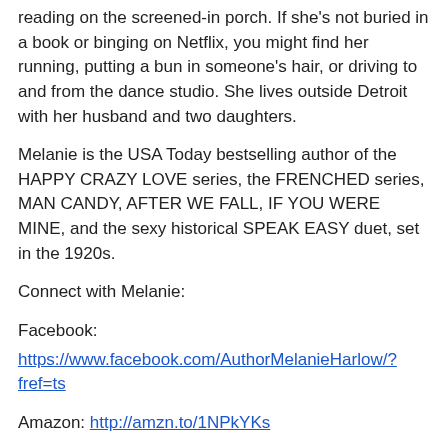reading on the screened-in porch. If she's not buried in a book or binging on Netflix, you might find her running, putting a bun in someone's hair, or driving to and from the dance studio. She lives outside Detroit with her husband and two daughters.
Melanie is the USA Today bestselling author of the HAPPY CRAZY LOVE series, the FRENCHED series, MAN CANDY, AFTER WE FALL, IF YOU WERE MINE, and the sexy historical SPEAK EASY duet, set in the 1920s.
Connect with Melanie:
Facebook:
https://www.facebook.com/AuthorMelanieHarlow/?fref=ts
Amazon: http://amzn.to/1NPkYKs